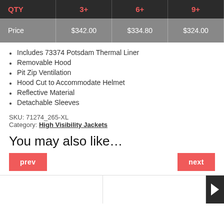| QTY | 3+ | 6+ | 9+ |
| --- | --- | --- | --- |
| Price | $342.00 | $334.80 | $324.00 |
Includes 73374 Potsdam Thermal Liner
Removable Hood
Pit Zip Ventilation
Hood Cut to Accommodate Helmet
Reflective Material
Detachable Sleeves
SKU: 71274_265-XL
Category: High Visibility Jackets
You may also like…
[Figure (other): prev / next navigation buttons and product card placeholders]